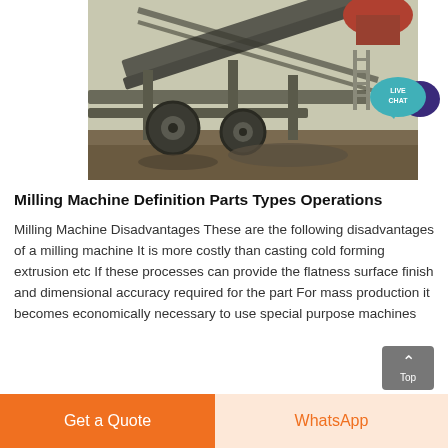[Figure (photo): Industrial milling/crushing machine with conveyor belts, large wheels, and steel framework structure photographed outdoors]
[Figure (logo): Live Chat button — teal speech bubble with 'LIVE CHAT' text and dark purple chat icon]
Milling Machine Definition Parts Types Operations
Milling Machine Disadvantages These are the following disadvantages of a milling machine It is more costly than casting cold forming extrusion etc If these processes can provide the flatness surface finish and dimensional accuracy required for the part For mass production it becomes economically necessary to use special purpose machines
Get a Quote
WhatsApp